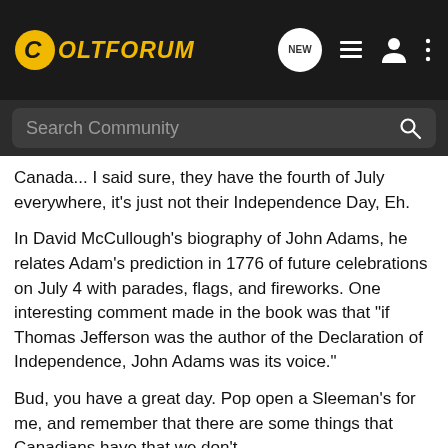[Figure (screenshot): ColtForum website header with logo, NEW chat icon, list icon, user icon, and three-dot menu icon on dark background]
[Figure (screenshot): Search bar with 'Search Community' placeholder text and magnifying glass icon on dark background]
Canada... I said sure, they have the fourth of July everywhere, it's just not their Independence Day, Eh.
In David McCullough's biography of John Adams, he relates Adam's prediction in 1776 of future celebrations on July 4 with parades, flags, and fireworks. One interesting comment made in the book was that "if Thomas Jefferson was the author of the Declaration of Independence, John Adams was its voice."
Bud, you have a great day. Pop open a Sleeman's for me, and remember that there are some things that Canadians have that we don't.
Buck
[Figure (screenshot): Bass Pro Shops advertisement banner: Bargain Cave Hunting Clearance with Shop Now button on dark red background]